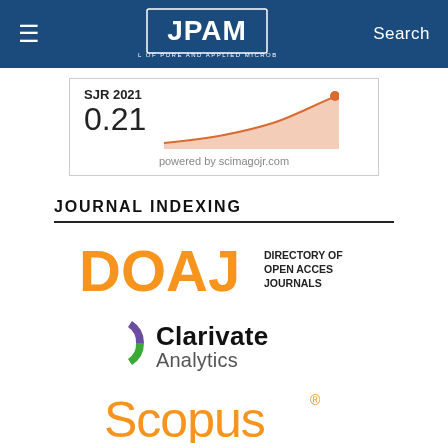JPAM — Journal of Pure and Applied Microbiology | Search
[Figure (continuous-plot): SJR 2021 area chart showing value 0.21, with orange upward trend line on salmon-shaded area. Powered by scimagojr.com]
JOURNAL INDEXING
[Figure (logo): DOAJ — Directory of Open Access Journals logo in orange]
[Figure (logo): Clarivate Analytics logo with colorful circular icon]
[Figure (logo): Scopus logo in orange with registered trademark symbol]